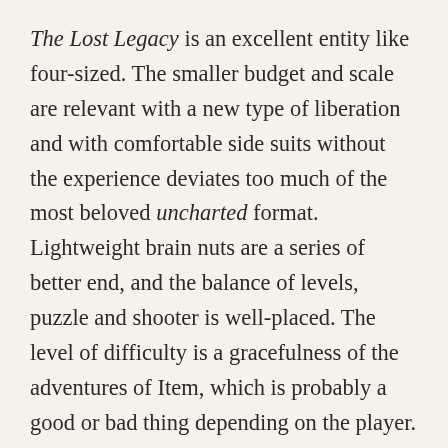The Lost Legacy is an excellent entity like four-sized. The smaller budget and scale are relevant with a new type of liberation and with comfortable side suits without the experience deviates too much of the most beloved uncharted format. Lightweight brain nuts are a series of better end, and the balance of levels, puzzle and shooter is well-placed. The level of difficulty is a gracefulness of the adventures of Item, which is probably a good or bad thing depending on the player. Intermediate storage points are similarly sprinkled densely, so the ball in the skull does not become a huge slower.